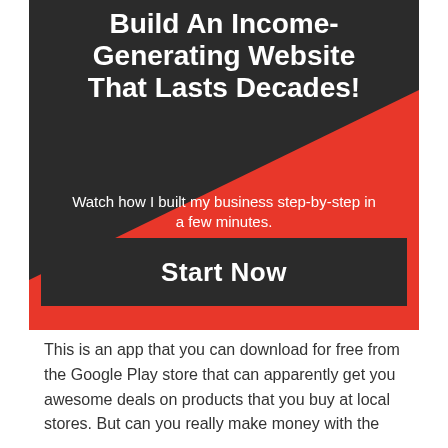[Figure (infographic): Promotional banner ad with dark/red diagonal background design. Title: 'Build An Income-Generating Website That Lasts Decades!' with subtitle text 'Watch how I built my business step-by-step in a few minutes. Earn online income for a lifetime.' and a dark 'Start Now' button.]
This is an app that you can download for free from the Google Play store that can apparently get you awesome deals on products that you buy at local stores. But can you really make money with the Saving Stamp?